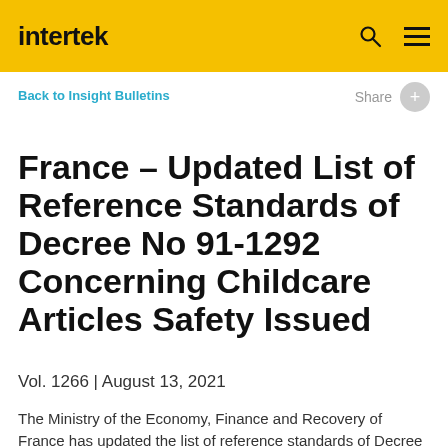intertek
Back to Insight Bulletins
Share
France – Updated List of Reference Standards of Decree No 91-1292 Concerning Childcare Articles Safety Issued
Vol. 1266 | August 13, 2021
The Ministry of the Economy, Finance and Recovery of France has updated the list of reference standards of Decree